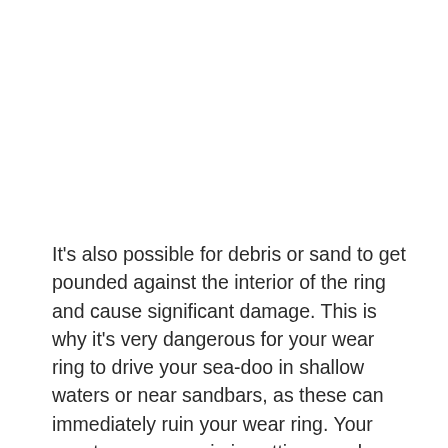It's also possible for debris or sand to get pounded against the interior of the ring and cause significant damage. This is why it's very dangerous for your wear ring to drive your sea-doo in shallow waters or near sandbars, as these can immediately ruin your wear ring. Your worst-case scenario is getting a rock or hard object jammed between the wear ring and the impeller, as it will likely ruin both elements.